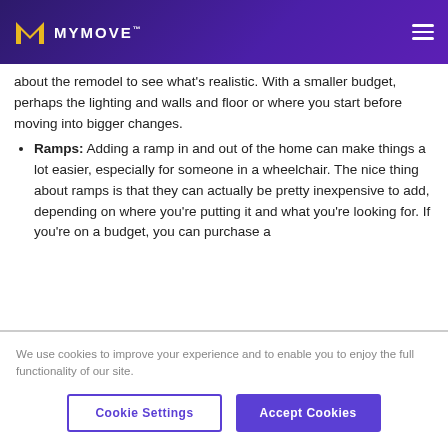MYMOVE
about the remodel to see what's realistic. With a smaller budget, perhaps the lighting and walls and floor or where you start before moving into bigger changes.
Ramps: Adding a ramp in and out of the home can make things a lot easier, especially for someone in a wheelchair. The nice thing about ramps is that they can actually be pretty inexpensive to add, depending on where you're putting it and what you're looking for. If you're on a budget, you can purchase a
We use cookies to improve your experience and to enable you to enjoy the full functionality of our site.
Cookie Settings  Accept Cookies